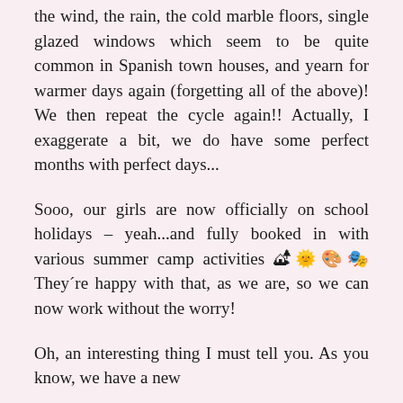the wind, the rain, the cold marble floors, single glazed windows which seem to be quite common in Spanish town houses, and yearn for warmer days again (forgetting all of the above)! We then repeat the cycle again!! Actually, I exaggerate a bit, we do have some perfect months with perfect days...
Sooo, our girls are now officially on school holidays – yeah...and fully booked in with various summer camp activities 🏕️🌞🎨🎭They´re happy with that, as we are, so we can now work without the worry!
Oh, an interesting thing I must tell you. As you know, we have a new